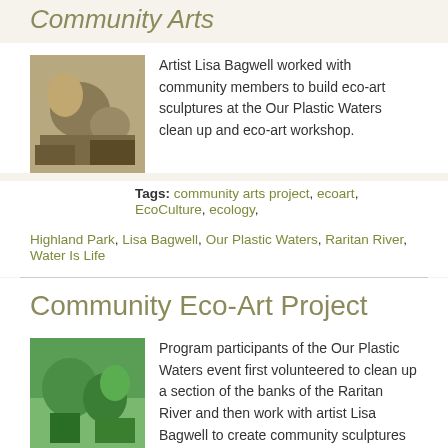Community Arts
[Figure (photo): People working on eco-art sculptures outdoors]
Artist Lisa Bagwell worked with community members to build eco-art sculptures at the Our Plastic Waters clean up and eco-art workshop.
Tags: community arts project, ecoart, EcoCulture, ecology, Highland Park, Lisa Bagwell, Our Plastic Waters, Raritan River, Water Is Life
Community Eco-Art Project
[Figure (photo): Program participants working with artist Lisa Bagwell on community sculptures]
Program participants of the Our Plastic Waters event first volunteered to clean up a section of the banks of the Raritan River and then work with artist Lisa Bagwell to create community sculptures from the garbage collected in the clean up.
Tags: community arts project, ecoart, EcoCulture, ecology, Highland Park, Lisa Bagwell, Our Plastic Waters, Raritan River, Water Is Life
Creating Art from Garbage